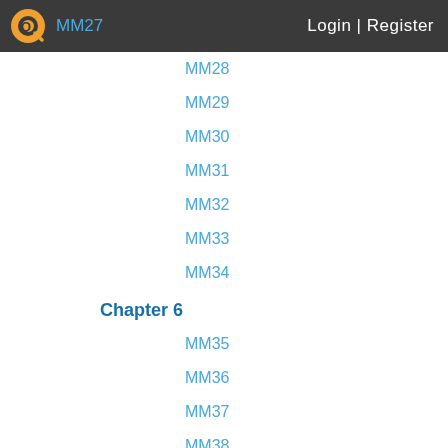MM27   Login | Register
MM28
MM29
MM30
MM31
MM32
MM33
MM34
Chapter 6
MM35
MM36
MM37
MM38
MM39
MM40
MM41
MM42